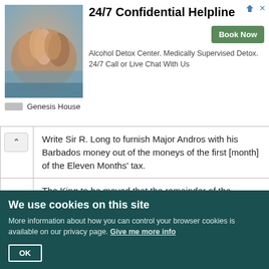[Figure (screenshot): Advertisement banner for Genesis House 24/7 Confidential Helpline - Alcohol Detox Center with Book Now button]
|  | Write Sir R. Long to furnish Major Andros with his Barbados money out of the moneys of the first [month] of the Eleven Months' tax. |
|  | The King to be moved that the remainder of the fragments of the Royal Aid be applied to pay Mr. Hinton for what their tallies on the Guildhall fell short by the burning of London: and that then a privy seal be drawn for it, and their former tallies on the Royal Aid to be taken in and vacated. |
|  | The Lord Keeper to be moved whether or when the day [is fixed] to meet at the Exchequer Chamber about choosing sheriffs. Lord Ashley to inform himself of the rank which |
We use cookies on this site
More information about how you can control your browser cookies is available on our privacy page. Give me more info
OK